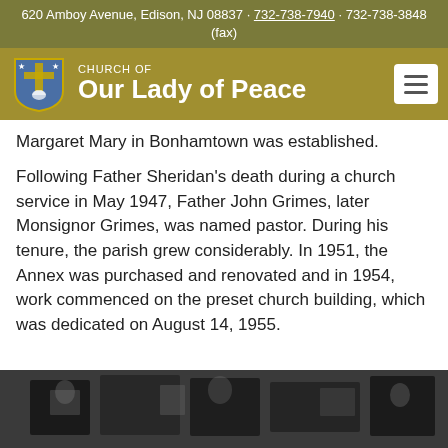620 Amboy Avenue, Edison, NJ 08837 · 732-738-7940 · 732-738-3848 (fax)
[Figure (logo): Church of Our Lady of Peace logo with shield emblem and church name, gold/olive background with hamburger menu button]
Margaret Mary in Bonhamtown was established.
Following Father Sheridan's death during a church service in May 1947, Father John Grimes, later Monsignor Grimes, was named pastor. During his tenure, the parish grew considerably. In 1951, the Annex was purchased and renovated and in 1954, work commenced on the preset church building, which was dedicated on August 14, 1955.
[Figure (photo): Black and white historical photograph at the bottom of the page, partially visible]